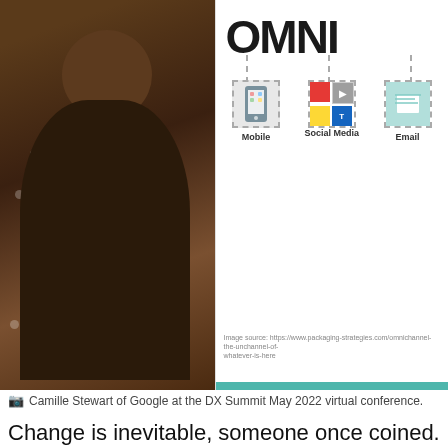[Figure (photo): Two-panel image: left shows Camille Stewart of Google speaking at DX Summit May 2022 virtual conference; right shows an omnichannel marketing infographic with Mobile, Social Media, and Email channel icons under the heading OMNI.]
Camille Stewart of Google at the DX Summit May 2022 virtual conference.
Change is inevitable, someone once coined. The last two-plus years, it's all we've known.
That was the message from Rich Hein, Editor in Chief of CMSWire, in his opening keynote at last week's CMSWire DX Summit virtual conference.
“Change keeps coming at us from every direction it seems with disruption coming from